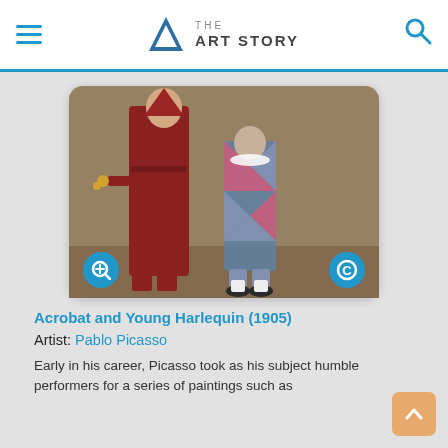THE ART STORY
[Figure (photo): Painting: Acrobat and Young Harlequin (1905) by Pablo Picasso. Two figures — a taller figure in red and a young child in a diamond-patterned harlequin costume — stand against a muted brown background. Zoom and copyright icons overlay the bottom corners.]
Acrobat and Young Harlequin (1905)
Artist: Pablo Picasso
Early in his career, Picasso took as his subject humble performers for a series of paintings such as